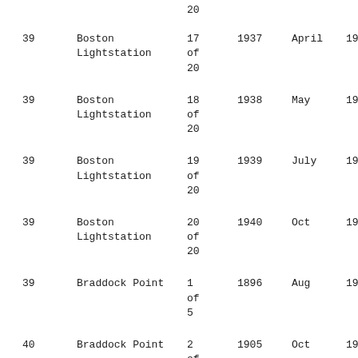| Box | Location | Volume | Year Start | Month End | Year End |
| --- | --- | --- | --- | --- | --- |
|  |  | 20 |  |  |  |
| 39 | Boston Lightstation | 17 of 20 | 1937 | April | 1938 |
| 39 | Boston Lightstation | 18 of 20 | 1938 | May | 1939 |
| 39 | Boston Lightstation | 19 of 20 | 1939 | July | 1940 |
| 39 | Boston Lightstation | 20 of 20 | 1940 | Oct | 1942 |
| 39 | Braddock Point | 1 of 5 | 1896 | Aug | 1905 |
| 40 | Braddock Point | 2 of | 1905 | Oct | 1913 |